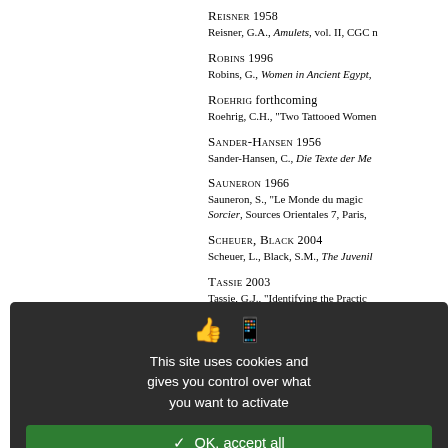REISNER 1958
Reisner, G.A., Amulets, vol. II, CGC n
ROBINS 1996
Robins, G., Women in Ancient Egypt,
ROEHRIG forthcoming
Roehrig, C.H., "Two Tattooed Women
SANDER-HANSEN 1956
Sander-Hansen, C., Die Texte der Me
SAUNERON 1966
Sauneron, S., "Le Monde du magic Sorcier, Sources Orientales 7, Paris,
SCHEUER, BLACK 2004
Scheuer, L., Black, S.M., The Juvenil
TASSIE 2003
Tassie, G.J., "Identifying the Practic 003, pp. 85-101.
DOI: 10.5334/pia.200
TEETER 2011
Teeter, E., Religion and Ritual in Anci
DOI: 10.1017/CBO9780511799462
This site uses cookies and gives you control over what you want to activate
✓ OK, accept all
✗ Deny all cookies
Personalize
Privacy policy